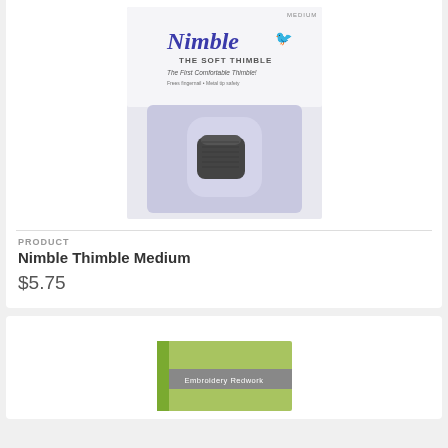[Figure (photo): Nimble The Soft Thimble product packaging showing a gray/black thimble in a blister pack with blue script logo and text 'The First Comfortable Thimble!']
PRODUCT
Nimble Thimble Medium
$5.75
[Figure (photo): Partial view of a second product - Embroidery Redwork book/kit with green spine visible at bottom of page]